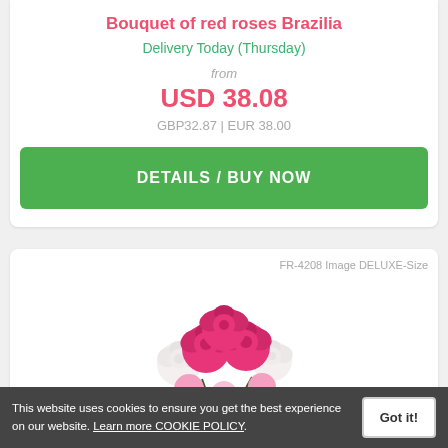Bouquet of red roses Brazilia
Delivery Today (Thursday)
from
USD 38.08
GBP32.87 | EUR 38.00
DETAILS / BUY NOW
FR-4208 Image DELUXE-Size
[Figure (photo): Bouquet of pink and white roses, partially visible, bottom portion of image cropped]
This website uses cookies to ensure you get the best experience on our website. Learn more COOKIE POLICY. Got it!